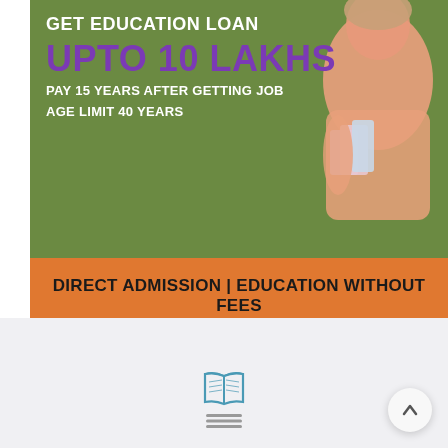[Figure (infographic): Education loan advertisement banner with green background showing text about getting education loan up to 10 lakhs, pay 15 years after getting job, age limit 40 years. Orange section at bottom with direct admission and education without fees text. Student figure holding books on right side.]
[Figure (logo): Watermark logo of an educational institution with circular emblem, light blue color, partially transparent]
[Figure (infographic): Gray bottom section with open book icon (teal/cyan) and hamburger menu lines icon, plus circular up-arrow navigation button on right]